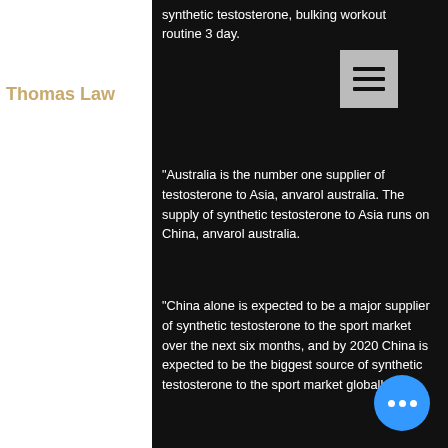synthetic testosterone, bulking workout routine 3 day.
[Figure (other): Hamburger menu icon button (three horizontal lines on grey background)]
Thomas Law
"Australia is the number one supplier of testosterone to Asia, anvarol australia. The supply of synthetic testosterone to Asia runs on China, anvarol australia.
"China alone is expected to be a major supplier of synthetic testosterone to the sport market over the next six months, and by 2020 China is expected to be the biggest source of synthetic testosterone to the sport market globally.
"We are working very hard to bring synthetic testosterone out of China, and we will do that through the international sporting body that we operate, bulking workout routine 3 d...
"The Australian Government is not getting